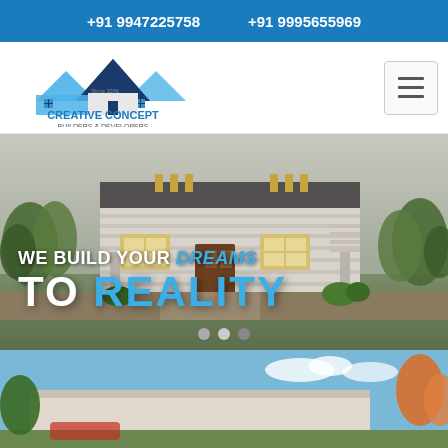+91 9947225758    +91 9995655969
[Figure (logo): Creative Concept Builders & Developers logo with rooftop icon and text 'Since 2006']
[Figure (photo): Hero banner showing a modern single-story house rendering with green trees in background. Overlay text: 'WE BUILD YOUR DREAMS TO REALITY'. Three carousel dots at bottom.]
[Figure (photo): Partial view of another house image at the bottom of the page, showing a residential building with trees.]